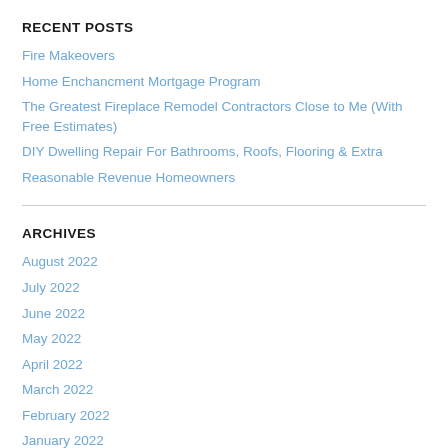RECENT POSTS
Fire Makeovers
Home Enchancment Mortgage Program
The Greatest Fireplace Remodel Contractors Close to Me (With Free Estimates)
DIY Dwelling Repair For Bathrooms, Roofs, Flooring & Extra
Reasonable Revenue Homeowners
ARCHIVES
August 2022
July 2022
June 2022
May 2022
April 2022
March 2022
February 2022
January 2022
December 2021